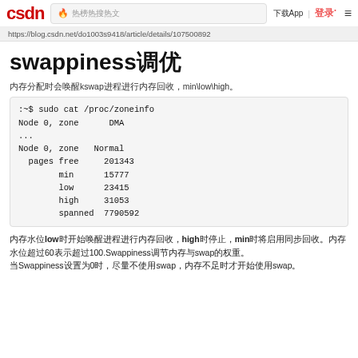CSDN | 🔥 热榜App | 登录 ≡
https://blog.csdn.net/do100s9418/article/details/107500892
swappiness调优
内存分配时会唤醒kswap进程进行内存回收，min\low\high。
[Figure (screenshot): Terminal code block showing sudo cat /proc/zoneinfo output with Node 0 zone DMA, Node 0 zone Normal with pages free 201343, min 15777, low 23415, high 31053, spanned 7790592]
内存水位low时开始唤醒进程进行内存回收，high时停止，min时将启用同步回收。内存水位超过60表示超过100.Swappiness调节内存与swap的权重。当Swappiness设置为0时，尽量不使用swap，内存不足时才开始使用swap。